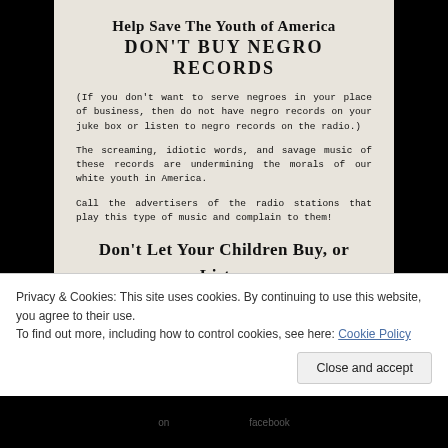Help Save The Youth of America
DON'T BUY NEGRO RECORDS
(If you don't want to serve negroes in your place of business, then do not have negro records on your juke box or listen to negro records on the radio.)
The screaming, idiotic words, and savage music of these records are undermining the morals of our white youth in America.
Call the advertisers of the radio stations that play this type of music and complain to them!
Don't Let Your Children Buy, or Listen To These Negro Records
For additional copies of this circular, write
CITIZENS' COUNCIL OF GREATER NEW ORLEANS, INC.
509 Delta Building    New Orleans Louisiana 70112
Privacy & Cookies: This site uses cookies. By continuing to use this website, you agree to their use.
To find out more, including how to control cookies, see here: Cookie Policy
Close and accept
on    facebook